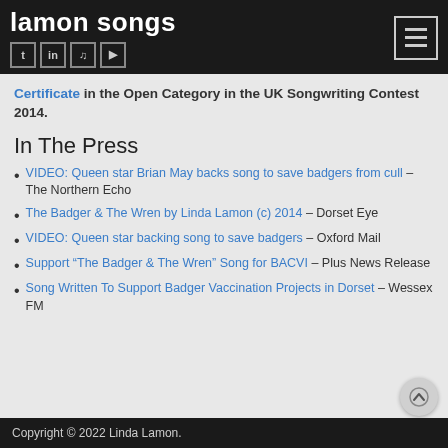lamon songs
Certificate in the Open Category in the UK Songwriting Contest 2014.
In The Press
VIDEO: Queen star Brian May backs song to save badgers from cull – The Northern Echo
The Badger & The Wren by Linda Lamon (c) 2014 – Dorset Eye
VIDEO: Queen star backing song to save badgers – Oxford Mail
Support “The Badger & The Wren” Song for BACVI – Plus News Release
Song Written To Support Badger Vaccination Projects in Dorset – Wessex FM
Copyright © 2022 Linda Lamon.